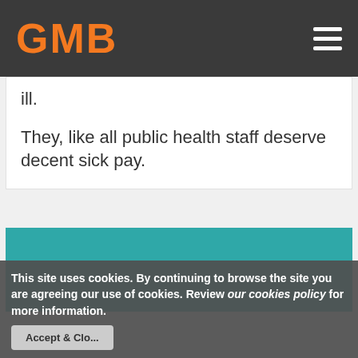GMB
ill.
They, like all public health staff deserve decent sick pay.
[Figure (other): Teal/green colored rectangular image block]
This site uses cookies. By continuing to browse the site you are agreeing our use of cookies. Review our cookies policy for more information.